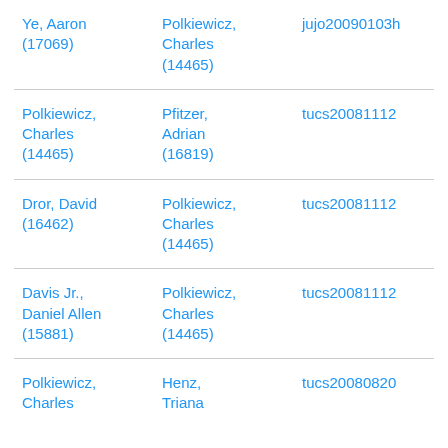| Ye, Aaron (17069) | Polkiewicz, Charles (14465) | jujo20090103h |
| Polkiewicz, Charles (14465) | Pfitzer, Adrian (16819) | tucs20081112 |
| Dror, David (16462) | Polkiewicz, Charles (14465) | tucs20081112 |
| Davis Jr., Daniel Allen (15881) | Polkiewicz, Charles (14465) | tucs20081112 |
| Polkiewicz, Charles | Henz, Triana | tucs20080820 |